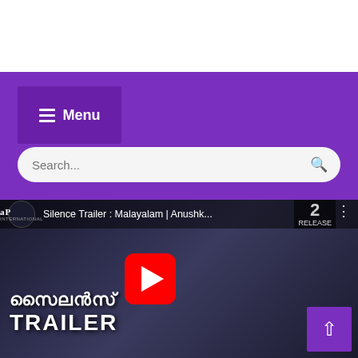[Figure (screenshot): Website navigation bar with purple background showing hamburger menu labeled 'Menu' in a darker purple box, and a search bar with placeholder text 'Search...' and a search icon]
[Figure (screenshot): YouTube video thumbnail for 'Silence Trailer : Malayalam | Anushk...' showing dark cinematic film poster with Malayalam text and 'TRAILER' in white, with red YouTube play button overlay and a purple scroll-to-top button in bottom right corner]